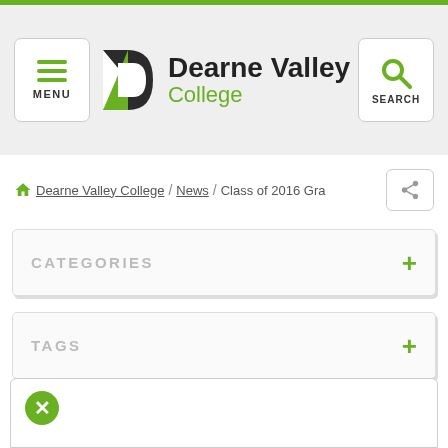Dearne Valley College — Navigation header with MENU and SEARCH buttons
Dearne Valley College / News / Class of 2016 Gra
CATEGORIES
TAGS
[Figure (other): Close/dismiss button circle with X icon at bottom panel]